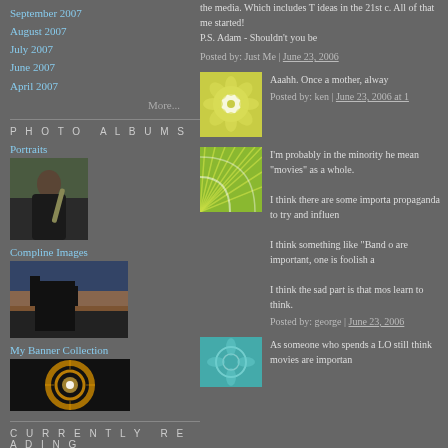September 2007
August 2007
July 2007
June 2007
April 2007
More...
PHOTO ALBUMS
Portraits
[Figure (photo): Portrait photo of young man with saxophone]
Compline Images
[Figure (photo): Photo of a dark stone building at dusk]
My Banner Collection
[Figure (photo): Glowing circular banner image]
CURRENTLY READING
As someone who spends a LO still think movies are importan
I'm probably in the minority he mean "movies" as a whole.

I think there are some importa propaganda to try and influen

I think something like "Band o are important, one is foolish a

I think the sad part is that mos learn to think.
Posted by: george | June 23, 2006
Aaahh. Once a mother, alway
Posted by: ken | June 23, 2006 at 1
the media. Which includes T ideas in the 21st c. All of that me started!
P.S. Adam - Shouldn't you be
Posted by: Just Me | June 23, 2006